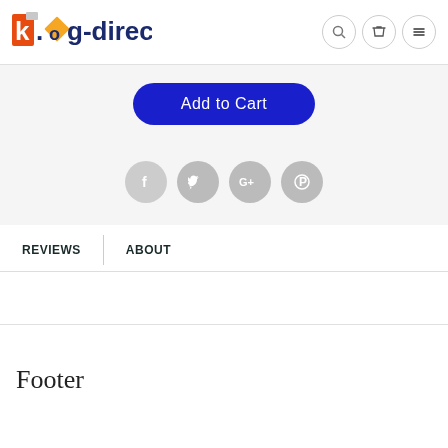k.o.g-direct
[Figure (screenshot): Add to Cart button - dark blue rounded rectangle button with white text]
[Figure (infographic): Social media share icons: Facebook, Twitter, Google+, Pinterest - all in light grey circles]
REVIEWS | ABOUT
Footer